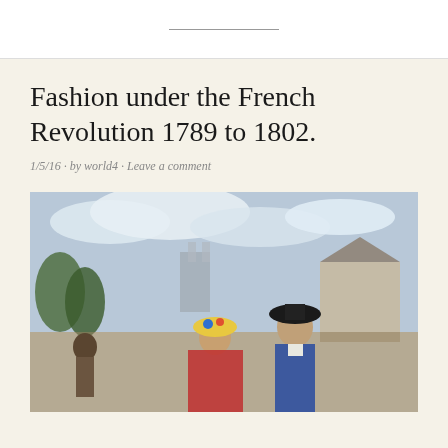Fashion under the French Revolution 1789 to 1802.
1/5/16 · by world4 · Leave a comment
[Figure (photo): Historical painting showing elegantly dressed figures in 18th-century French fashion standing in a garden with Notre-Dame Cathedral and Parisian buildings visible in the background. A woman in a colorful dress and hat is in the center, accompanied by a man in a bicorne hat and period attire.]